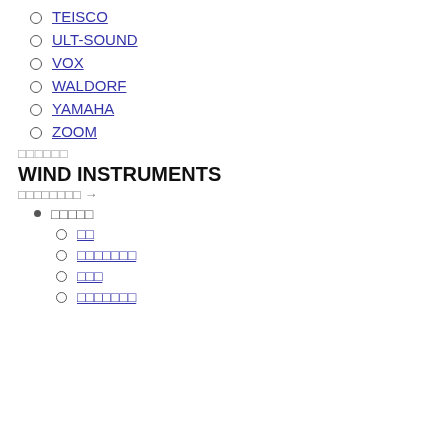TEISCO
ULT-SOUND
VOX
WALDORF
YAMAHA
ZOOM
□□□□□□
WIND INSTRUMENTS
□□□□□□□□ →
□□□□□
□□
□□□□□□□
□□□
□□□□□□□